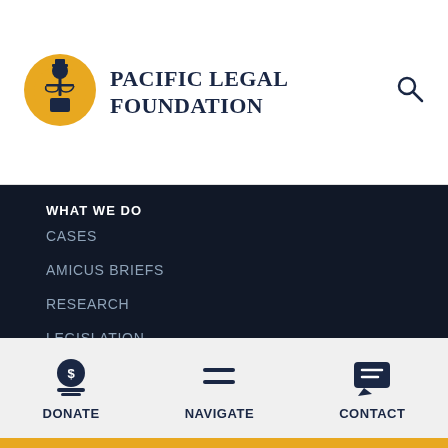[Figure (logo): Pacific Legal Foundation logo: figure of a lawyer/judge at a desk with scales of justice in a yellow circular badge]
PACIFIC LEGAL FOUNDATION
WHAT WE DO
CASES
AMICUS BRIEFS
RESEARCH
LEGISLATION
SUPREME COURT
OUR GOALS
END HOME EQUITY THEFT
DONATE   NAVIGATE   CONTACT